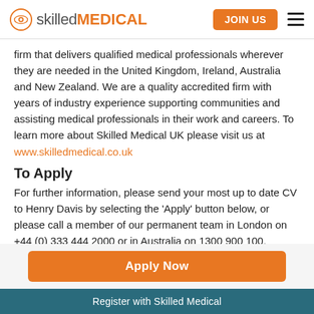[Figure (logo): Skilled Medical logo with eye icon, 'skilled' in grey and 'MEDICAL' in orange]
firm that delivers qualified medical professionals wherever they are needed in the United Kingdom, Ireland, Australia and New Zealand. We are a quality accredited firm with years of industry experience supporting communities and assisting medical professionals in their work and careers. To learn more about Skilled Medical UK please visit us at www.skilledmedical.co.uk
To Apply
For further information, please send your most up to date CV to Henry Davis by selecting the 'Apply' button below, or please call a member of our permanent team in London on +44 (0) 333 444 2000 or in Australia on 1300 900 100.
[Figure (other): Apply Now orange button]
Register with Skilled Medical